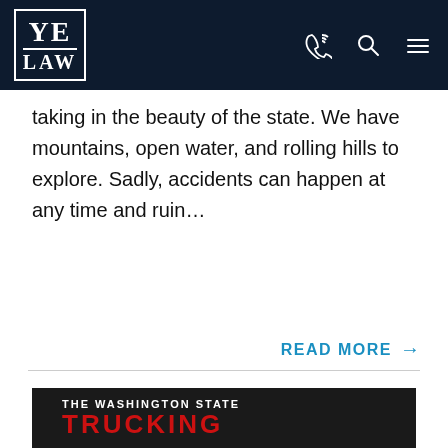[Figure (logo): YE LAW logo in white on dark navy header background with phone, search and menu icons]
taking in the beauty of the state. We have mountains, open water, and rolling hills to explore. Sadly, accidents can happen at any time and ruin…
READ MORE →
[Figure (infographic): Dark background card with text: THE WASHINGTON STATE TRUCKING in large red bold letters]